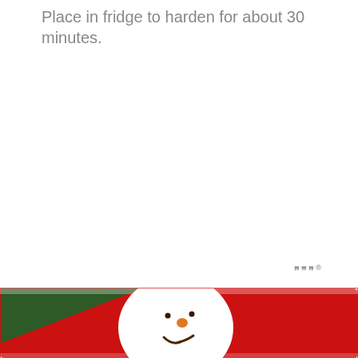Place in fridge to harden for about 30 minutes.
[Figure (photo): A close-up photo of a snowman-decorated cookie or cake on a red and green background. The snowman face is white with brown smile marks and an orange nose, sitting on a red surface with a green corner visible.]